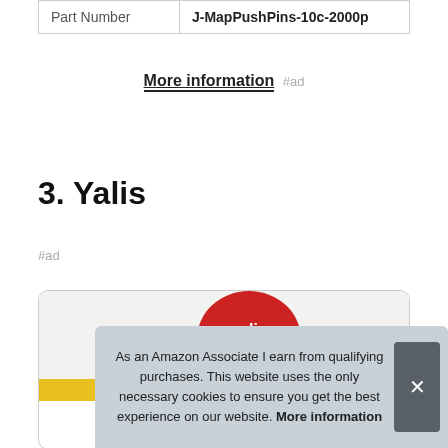| Part Number | J-MapPushPins-10c-2000p |
More information #ad
3. Yalis
#ad
[Figure (photo): Partial product image showing Yalis brand logo (red circle with white text) and 'PROF' text visible on packaging, on a light background.]
As an Amazon Associate I earn from qualifying purchases. This website uses the only necessary cookies to ensure you get the best experience on our website. More information